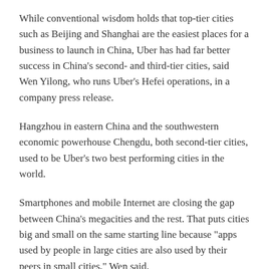While conventional wisdom holds that top-tier cities such as Beijing and Shanghai are the easiest places for a business to launch in China, Uber has had far better success in China's second- and third-tier cities, said Wen Yilong, who runs Uber's Hefei operations, in a company press release.
Hangzhou in eastern China and the southwestern economic powerhouse Chengdu, both second-tier cities, used to be Uber's two best performing cities in the world.
Smartphones and mobile Internet are closing the gap between China's megacities and the rest. That puts cities big and small on the same starting line because "apps used by people in large cities are also used by their peers in small cities," Wen said.
Like many foreign companies, Uber has made inroads into the Chinese market through top-tier cities since 2014 and began to penetrate smaller cities during the second half of last year.